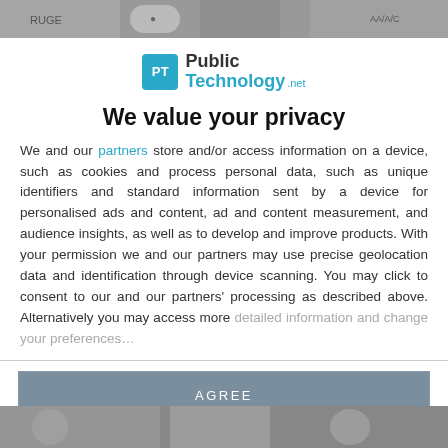[Figure (photo): Partially visible photo strip at the top of the page showing people]
[Figure (logo): PublicTechnology.net logo with PT icon in teal speech bubble]
We value your privacy
We and our partners store and/or access information on a device, such as cookies and process personal data, such as unique identifiers and standard information sent by a device for personalised ads and content, ad and content measurement, and audience insights, as well as to develop and improve products. With your permission we and our partners may use precise geolocation data and identification through device scanning. You may click to consent to our and our partners' processing as described above. Alternatively you may access more detailed information and change your preferences before consenting or to refuse consenting.
AGREE
MORE OPTIONS
[Figure (photo): Partially visible photo strip at the bottom of the page showing people]